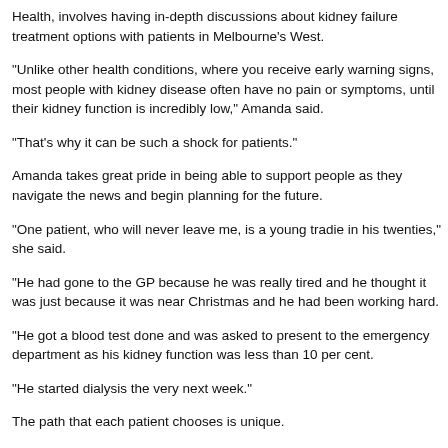Health, involves having in-depth discussions about kidney failure treatment options with patients in Melbourne's West.
“Unlike other health conditions, where you receive early warning signs, most people with kidney disease often have no pain or symptoms, until their kidney function is incredibly low,” Amanda said.
“That’s why it can be such a shock for patients.”
Amanda takes great pride in being able to support people as they navigate the news and begin planning for the future.
“One patient, who will never leave me, is a young tradie in his twenties,” she said.
“He had gone to the GP because he was really tired and he thought it was just because it was near Christmas and he had been working hard.
“He got a blood test done and was asked to present to the emergency department as his kidney function was less than 10 per cent.
“He started dialysis the very next week.”
The path that each patient chooses is unique.
“People are usually referred to me when their kidney function has deteriorated to
“At this point in the disease progression, most will need to start thinking about wh
“Most patients are shocked when I have this conversation with them, they don’t k